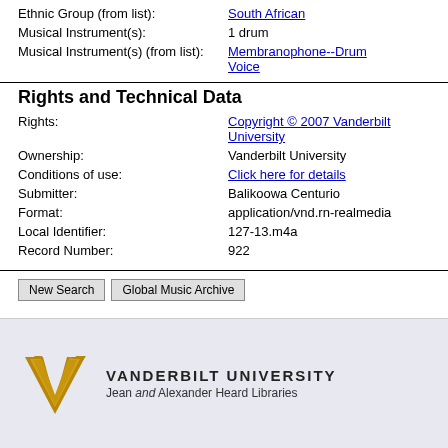Ethnic Group (from list): South African
Musical Instrument(s): 1 drum
Musical Instrument(s) (from list): Membranophone--Drum Voice
Rights and Technical Data
Rights: Copyright © 2007 Vanderbilt University
Ownership: Vanderbilt University
Conditions of use: Click here for details
Submitter: Balikoowa Centurio
Format: application/vnd.rn-realmedia
Local Identifier: 127-13.m4a
Record Number: 922
New Search  Global Music Archive
[Figure (logo): Vanderbilt University logo with gold V and text 'VANDERBILT UNIVERSITY Jean and Alexander Heard Libraries']